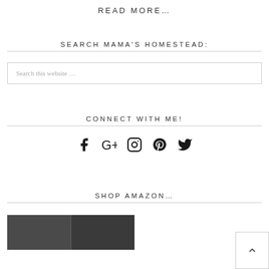READ MORE...
SEARCH MAMA'S HOMESTEAD:
Search this website ...
CONNECT WITH ME!
[Figure (infographic): Social media icons: Facebook, Google+, Instagram, Pinterest, Twitter]
SHOP AMAZON...
[Figure (photo): Amazon shop product image strip at bottom]